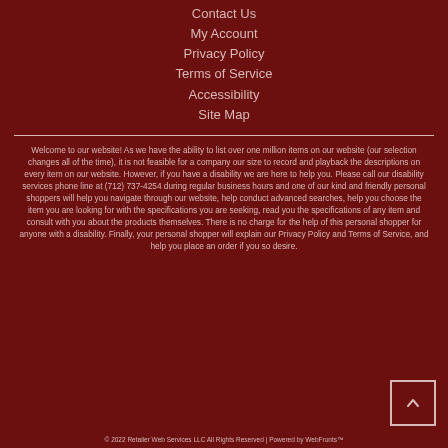Contact Us
My Account
Privacy Policy
Terms of Service
Accessibility
Site Map
Welcome to our website! As we have the ability to list over one million items on our website (our selection changes all of the time), it is not feasible for a company our size to record and playback the descriptions on every item on our website. However, if you have a disability we are here to help you. Please call our disability services phone line at (712) 737-4254 during regular business hours and one of our kind and friendly personal shoppers will help you navigate through our website, help conduct advanced searches, help you choose the item you are looking for with the specifications you are seeking, read you the specifications of any item and consult with you about the products themselves. There is no charge for the help of this personal shopper for anyone with a disability. Finally, your personal shopper will explain our Privacy Policy and Terms of Service, and help you place an order if you so desire.
© 2022 Retailer Web Services LLC All Rights Reserved | Powered by WebFronts™